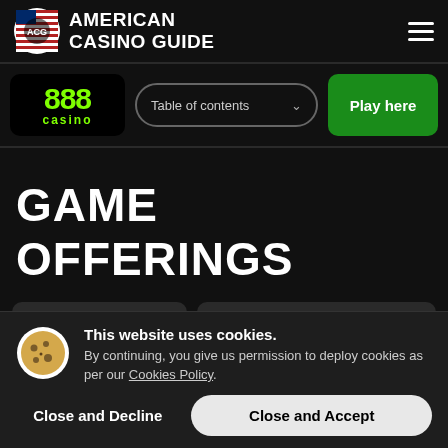AMERICAN CASINO GUIDE
[Figure (logo): 888 casino logo - black background with green 888 and 'casino' text]
Table of contents
Play here
GAME OFFERINGS
This website uses cookies. By continuing, you give us permission to deploy cookies as per our Cookies Policy.
Close and Decline
Close and Accept